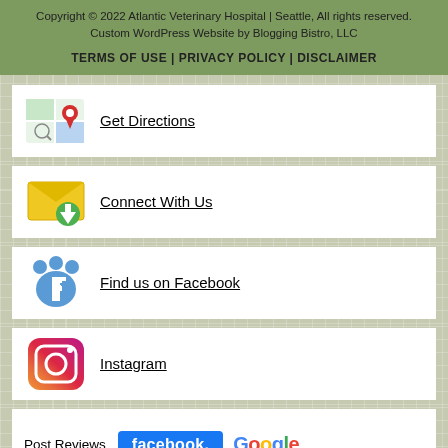Copyright © 2022 Atlantic Veterinary Hospital | Seattle, All rights reserved. Custom WordPress Website by Blogging Bistro, LLC
TERMS OF USE | PRIVACY POLICY | DISCLAIMER
[Figure (illustration): Google Maps icon with red location pin]
Get Directions
[Figure (illustration): Yellow envelope with green download arrow icon]
Connect With Us
[Figure (illustration): Blue paw print with Facebook F logo]
Find us on Facebook
[Figure (illustration): Instagram logo icon with gradient]
Instagram
Post Reviews
[Figure (logo): Facebook logo badge (blue) and Google logo text]